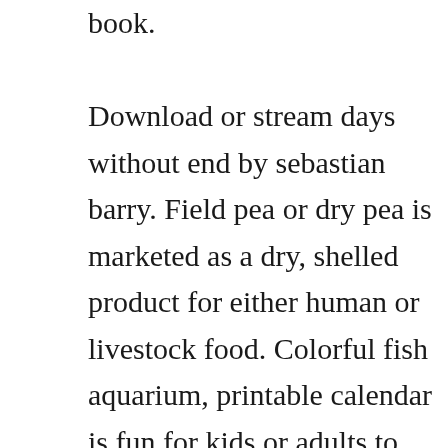book. Download or stream days without end by sebastian barry. Field pea or dry pea is marketed as a dry, shelled product for either human or livestock food. Colorful fish aquarium, printable calendar is fun for kids or adults to slip into a standard 8. Written in 1931 towards the end of prohibition, over in 1933 the book is a work of propaganda masquerading as just history. Summer s end top results of your surfing summer s end start download portable document format pdf and ebooks electronic books free online rating